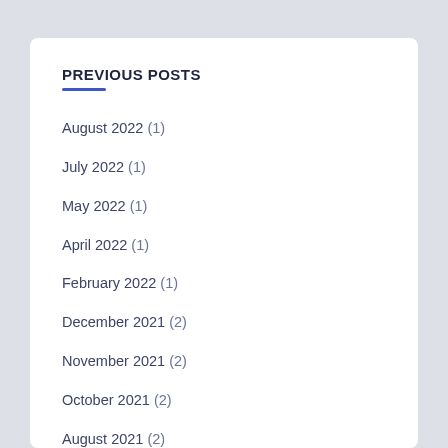PREVIOUS POSTS
August 2022 (1)
July 2022 (1)
May 2022 (1)
April 2022 (1)
February 2022 (1)
December 2021 (2)
November 2021 (2)
October 2021 (2)
August 2021 (2)
July 2021 (1)